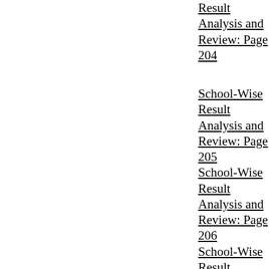School-Wise Result Analysis and Review: Page 204
School-Wise Result Analysis and Review: Page 205
School-Wise Result Analysis and Review: Page 206
School-Wise Result Analysis and Review: Page 207
School-Wise Result Analysis and Review: Page 208
School-Wise Result Analysis and Review: Page 209